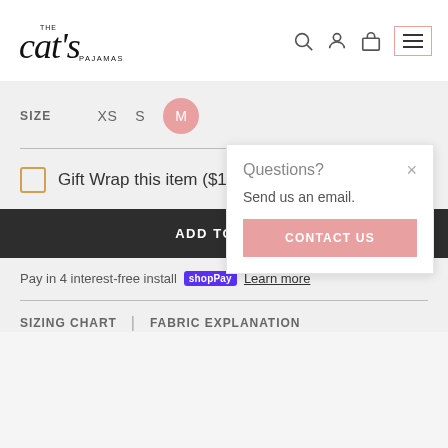[Figure (logo): The Cat's Pajamas script logo in black]
SIZE   XS   S   M
Gift Wrap this item ($10)
ADD TO BAG
Pay in 4 interest-free install   shopPay   Learn more
SIZING CHART   |   FABRIC EXPLANATION
Questions?
Send us an email.
CONTACT US